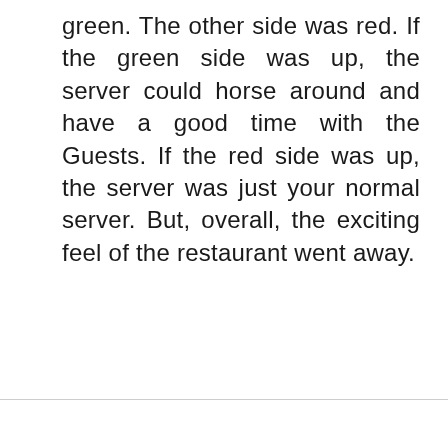green. The other side was red. If the green side was up, the server could horse around and have a good time with the Guests. If the red side was up, the server was just your normal server. But, overall, the exciting feel of the restaurant went away.